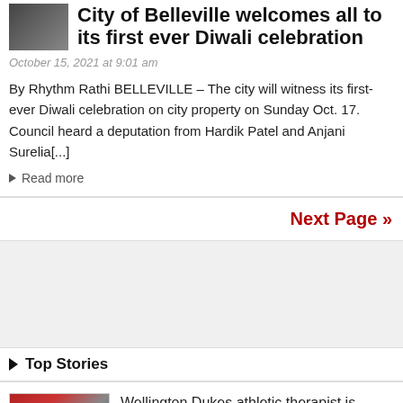City of Belleville welcomes all to its first ever Diwali celebration
October 15, 2021 at 9:01 am
By Rhythm Rathi BELLEVILLE – The city will witness its first-ever Diwali celebration on city property on Sunday Oct. 17. Council heard a deputation from Hardik Patel and Anjani Surelia[...]
Read more
Next Page »
Top Stories
Wellington Dukes athletic therapist is paving the way for women in sports